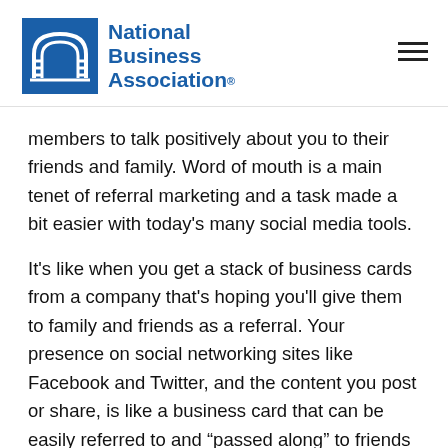[Figure (logo): National Business Association logo with blue arch icon and blue bold text reading National Business Association with registered trademark symbol]
members to talk positively about you to their friends and family. Word of mouth is a main tenet of referral marketing and a task made a bit easier with today's many social media tools.
It's like when you get a stack of business cards from a company that's hoping you'll give them to family and friends as a referral. Your presence on social networking sites like Facebook and Twitter, and the content you post or share, is like a business card that can be easily referred to and “passed along” to friends and associates. Getting your customers to